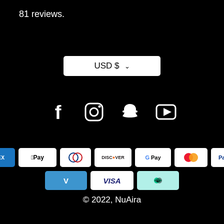81 reviews.
[Figure (screenshot): USD $ currency selector button with dropdown chevron]
[Figure (infographic): Social media icons: Facebook, Instagram, Snapchat, YouTube]
[Figure (infographic): Payment method badges: Amazon, Amex, Apple Pay, Diners, Discover, Google Pay, Mastercard, PayPal, OPay, Venmo, Visa, Afterpay]
© 2022, NuAira